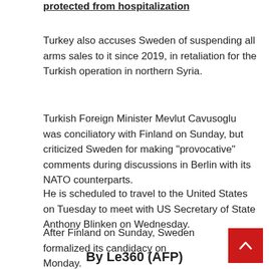protected from hospitalization
Turkey also accuses Sweden of suspending all arms sales to it since 2019, in retaliation for the Turkish operation in northern Syria.
Turkish Foreign Minister Mevlut Cavusoglu was conciliatory with Finland on Sunday, but criticized Sweden for making “provocative” comments during discussions in Berlin with its NATO counterparts.
He is scheduled to travel to the United States on Tuesday to meet with US Secretary of State Anthony Blinken on Wednesday.
After Finland on Sunday, Sweden formalized its candidacy on Monday.
By Le360 (AFP)